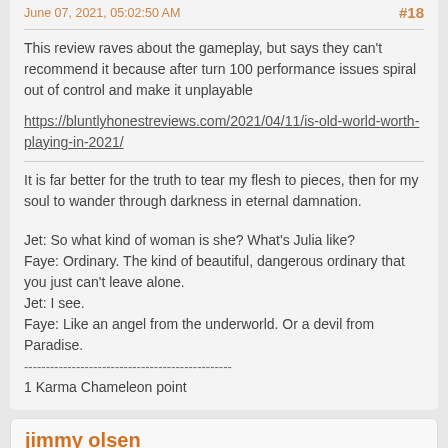June 07, 2021, 05:02:50 AM    #18
This review raves about the gameplay, but says they can't recommend it because after turn 100 performance issues spiral out of control and make it unplayable
https://bluntlyhonestreviews.com/2021/04/11/is-old-world-worth-playing-in-2021/
It is far better for the truth to tear my flesh to pieces, then for my soul to wander through darkness in eternal damnation.

Jet: So what kind of woman is she? What's Julia like?
Faye: Ordinary. The kind of beautiful, dangerous ordinary that you just can't leave alone.
Jet: I see.
Faye: Like an angel from the underworld. Or a devil from Paradise.
------------------------------------------------
1 Karma Chameleon point
jimmy olsen
July 02, 2021, 02:37:27 AM    #19